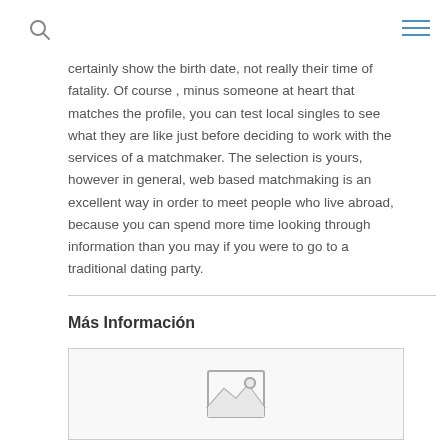certainly show the birth date, not really their time of fatality. Of course , minus someone at heart that matches the profile, you can test local singles to see what they are like just before deciding to work with the services of a matchmaker. The selection is yours, however in general, web based matchmaking is an excellent way in order to meet people who live abroad, because you can spend more time looking through information than you may if you were to go to a traditional dating party.
Más Información
[Figure (photo): Image placeholder with mountain/landscape icon]